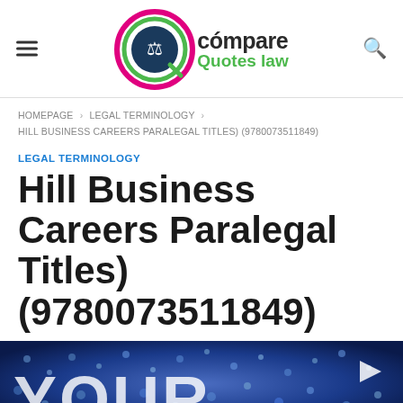[Figure (logo): Compare Quotes Law logo with circular emblem featuring scales of justice]
HOMEPAGE > LEGAL TERMINOLOGY > HILL BUSINESS CAREERS PARALEGAL TITLES) (9780073511849)
LEGAL TERMINOLOGY
Hill Business Careers Paralegal Titles) (9780073511849)
[Figure (photo): Hero image with crowd background and large white text 'YOUR' partially visible, with a play button triangle icon]